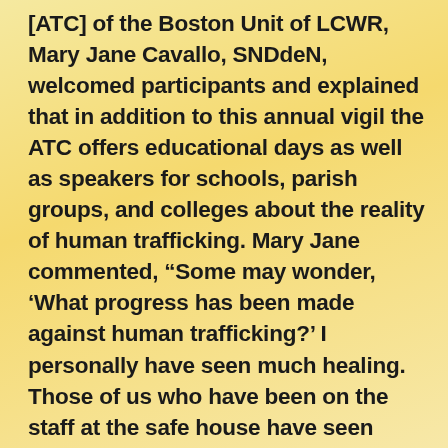[ATC] of the Boston Unit of LCWR, Mary Jane Cavallo, SNDdeN, welcomed participants and explained that in addition to this annual vigil the ATC offers educational days as well as speakers for schools, parish groups, and colleges about the reality of human trafficking. Mary Jane commented, “Some may wonder, ‘What progress has been made against human trafficking?’ I personally have seen much healing. Those of us who have been on the staff at the safe house have seen many women regain their dignity and begin new lives.”

Today, police departments are more educated to see the victim as victim and not criminal.